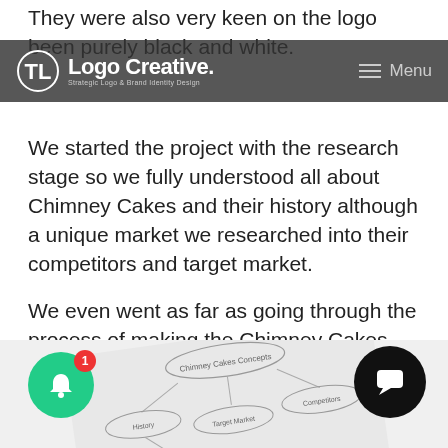They were also very keen on the logo been purely black and white.
Logo Creative. — Strategic Logo & Brand Identity Design | Menu
We started the project with the research stage so we fully understood all about Chimney Cakes and their history although a unique market we researched into their competitors and target market.
We even went as far as going through the process of making the Chimney Cakes and the process behind them with a mind map chart
Research & Concepts
[Figure (photo): A tilted paper sketch/mind map document visible at the bottom of the page, partially shown, with handwritten bubbles and arrows on a light paper background. Two UI overlay buttons are visible: a green notification button with badge '1' on the left, and a black chat button on the right.]